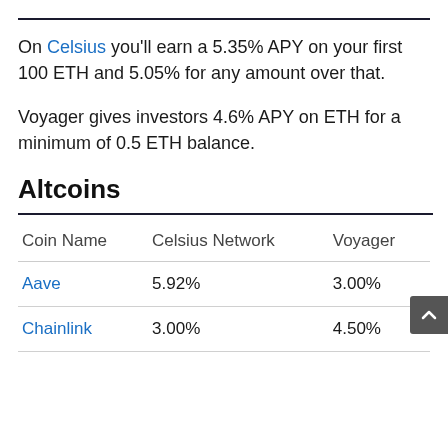On Celsius you'll earn a 5.35% APY on your first 100 ETH and 5.05% for any amount over that.
Voyager gives investors 4.6% APY on ETH for a minimum of 0.5 ETH balance.
Altcoins
| Coin Name | Celsius Network | Voyager |
| --- | --- | --- |
| Aave | 5.92% | 3.00% |
| Chainlink | 3.00% | 4.50% |